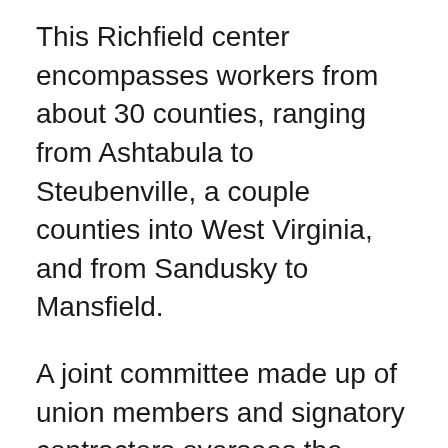This Richfield center encompasses workers from about 30 counties, ranging from Ashtabula to Steubenville, a couple counties into West Virginia, and from Sandusky to Mansfield.
A joint committee made up of union members and signatory contractors oversees the apprenticeship program, which features residential and commercial carpentry, floor covering and millwright, pile driving and cabinet making. A millwright is a tradesperson who installs, maintains and repairs stationary industrial machinery and mechanical equipment.